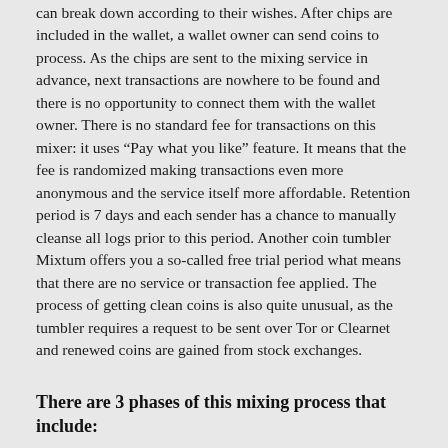can break down according to their wishes. After chips are included in the wallet, a wallet owner can send coins to process. As the chips are sent to the mixing service in advance, next transactions are nowhere to be found and there is no opportunity to connect them with the wallet owner. There is no standard fee for transactions on this mixer: it uses “Pay what you like” feature. It means that the fee is randomized making transactions even more anonymous and the service itself more affordable. Retention period is 7 days and each sender has a chance to manually cleanse all logs prior to this period. Another coin tumbler Mixtum offers you a so-called free trial period what means that there are no service or transaction fee applied. The process of getting clean coins is also quite unusual, as the tumbler requires a request to be sent over Tor or Clearnet and renewed coins are gained from stock exchanges.
There are 3 phases of this mixing process that include:
1. pre-mixing coins and then mixing them with others;